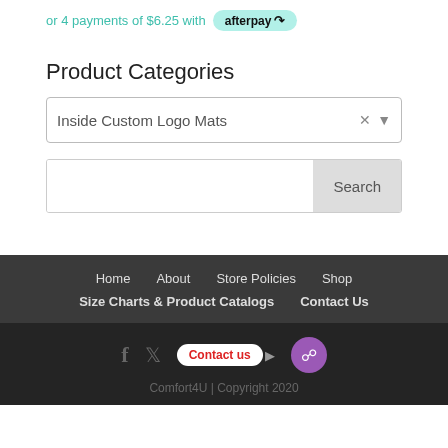or 4 payments of $6.25 with afterpay
Product Categories
Inside Custom Logo Mats
Search
Home  About  Store Policies  Shop  Size Charts & Product Catalogs  Contact Us
Comfort4U | Copyright 2020